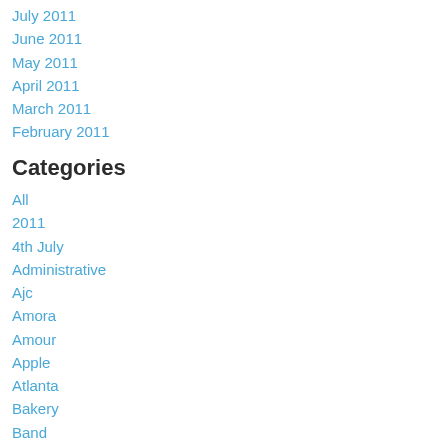July 2011
June 2011
May 2011
April 2011
March 2011
February 2011
Categories
All
2011
4th July
Administrative
Ajc
Amora
Amour
Apple
Atlanta
Bakery
Band
Belle-helene
Benedicta